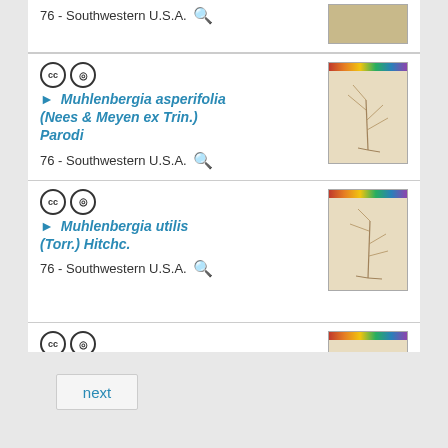76 - Southwestern U.S.A.
Muhlenbergia asperifolia (Nees & Meyen ex Trin.) Parodi
76 - Southwestern U.S.A.
[Figure (photo): Herbarium specimen of Muhlenbergia asperifolia]
Muhlenbergia utilis (Torr.) Hitchc.
76 - Southwestern U.S.A.
[Figure (photo): Herbarium specimen of Muhlenbergia utilis (first)]
Muhlenbergia utilis (Torr.) Hitchc.
76 - Southwestern U.S.A.
[Figure (photo): Herbarium specimen of Muhlenbergia utilis (second)]
next